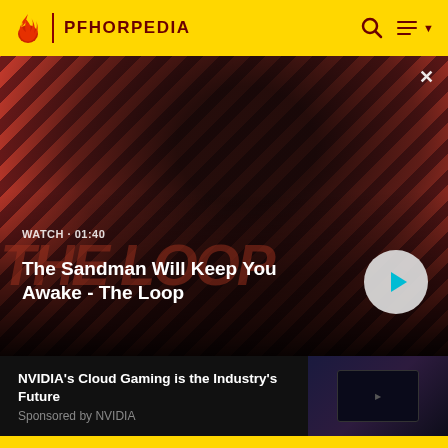PFHORPEDIA
[Figure (screenshot): Video thumbnail for 'The Sandman Will Keep You Awake - The Loop' with diagonal red/dark stripe background, a dark-clothed figure, 'THE LOOP' text, watch time 01:40, and a play button.]
The Sandman Will Keep You Awake - The Loop
WATCH · 01:40
[Figure (screenshot): Thumbnail image for NVIDIA cloud gaming sponsored article showing dark gaming-themed scene.]
NVIDIA's Cloud Gaming is the Industry's Future
Sponsored by NVIDIA